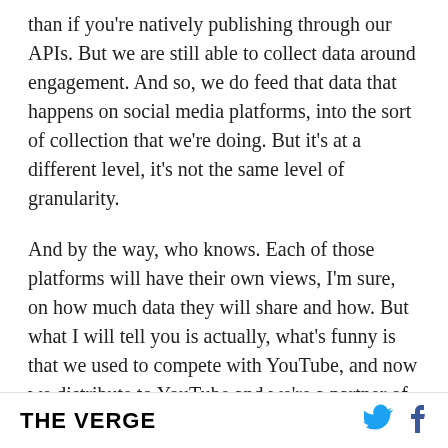than if you're natively publishing through our APIs. But we are still able to collect data around engagement. And so, we do feed that data that happens on social media platforms, into the sort of collection that we're doing. But it's at a different level, it's not the same level of granularity.
And by the way, who knows. Each of those platforms will have their own views, I'm sure, on how much data they will share and how. But what I will tell you is actually, what's funny is that we used to compete with YouTube, and now we distribute to YouTube and we're a partner of YouTube's. And from what I know from the conversations we have
THE VERGE